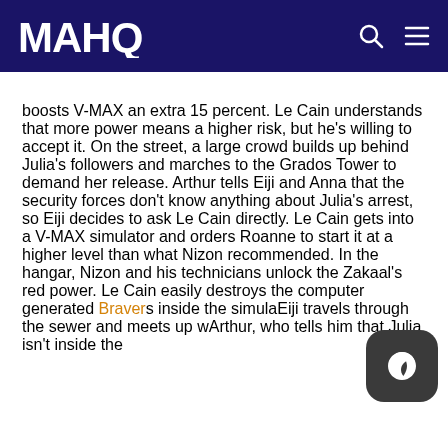MAHQ [logo] [search icon] [menu icon]
boosts V-MAX an extra 15 percent. Le Cain understands that more power means a higher risk, but he's willing to accept it. On the street, a large crowd builds up behind Julia's followers and marches to the Grados Tower to demand her release. Arthur tells Eiji and Anna that the security forces don't know anything about Julia's arrest, so Eiji decides to ask Le Cain directly. Le Cain gets into a V-MAX simulator and orders Roanne to start it at a higher level than what Nizon recommended. In the hangar, Nizon and his technicians unlock the Zakaal's red power. Le Cain easily destroys the computer generated Bravers inside the simula… Eiji travels through the sewer and meets up w… Arthur, who tells him that Julia isn't inside the Tower…